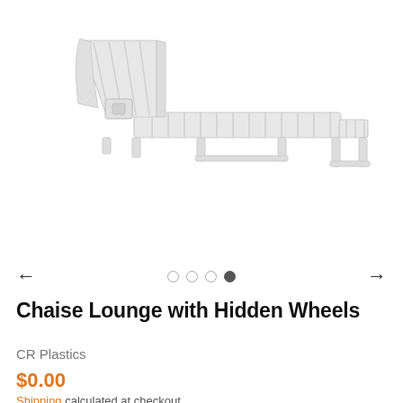[Figure (photo): White plastic chaise lounge chair with slatted back and seat, adjustable backrest, and hidden wheels, shown at an angle on a white background. The fourth photo in a gallery carousel.]
Chaise Lounge with Hidden Wheels
CR Plastics
$0.00
Shipping calculated at checkout.